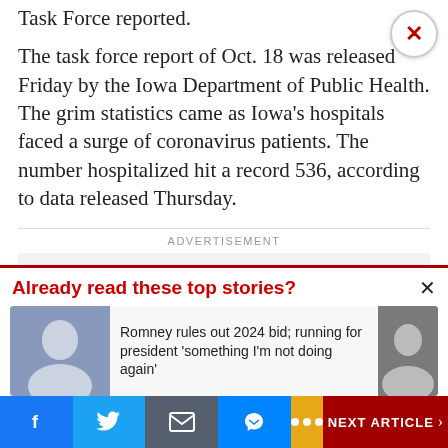Task Force reported.
The task force report of Oct. 18 was released Friday by the Iowa Department of Public Health. The grim statistics came as Iowa's hospitals faced a surge of coronavirus patients. The number hospitalized hit a record 536, according to data released Thursday.
ADVERTISEMENT
Already read these top stories?
Romney rules out 2024 bid; running for president 'something I'm not doing again'